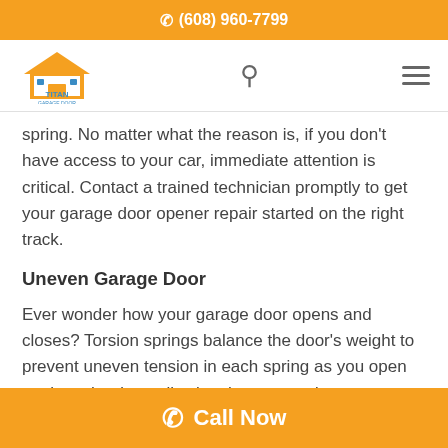(608) 960-7799
[Figure (logo): Titan Garage Door logo - house icon with orange roof and blue text]
spring. No matter what the reason is, if you don't have access to your car, immediate attention is critical. Contact a trained technician promptly to get your garage door opener repair started on the right track.
Uneven Garage Door
Ever wonder how your garage door opens and closes? Torsion springs balance the door's weight to prevent uneven tension in each spring as you open or close the door, allowing the garage door to open and close easily. When the door's weight is supported by one
Call Now